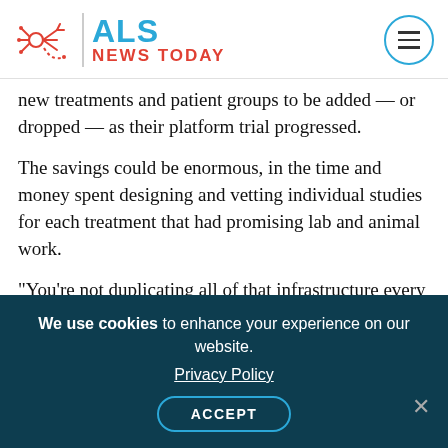ALS NEWS TODAY
new treatments and patient groups to be added — or dropped — as their platform trial progressed.
The savings could be enormous, in the time and money spent designing and vetting individual studies for each treatment that had promising lab and animal work.
“You’re not duplicating all of that infrastructure every time you have a different drug. You’re using the same protocol,” Hesterlee said.
HEALEY was conceived in 2018 by neurologist Merit Cudkowicz, MD, and
We use cookies to enhance your experience on our website. Privacy Policy ACCEPT